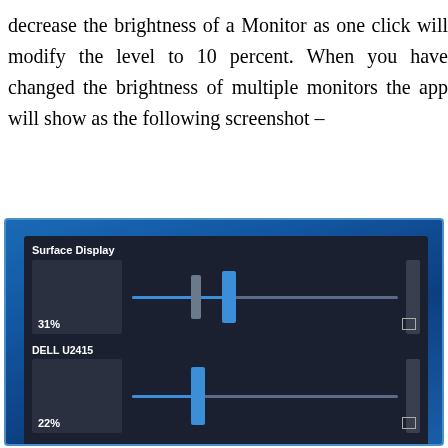decrease the brightness of a Monitor as one click will modify the level to 10 percent. When you have changed the brightness of multiple monitors the app will show as the following screenshot –
[Figure (screenshot): Screenshot of a monitor brightness control application showing Surface Display at 31%, DELL U2415 at 22%, and partially visible DELL S2731QS, each with horizontal brightness sliders on a dark background.]